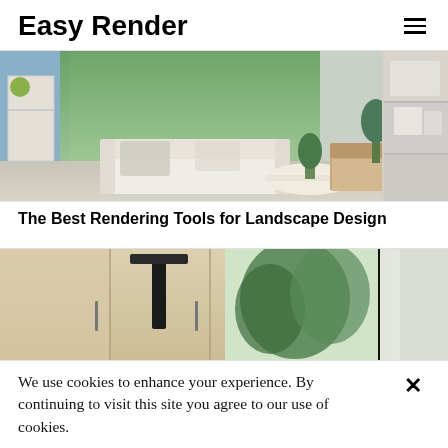Easy Render
[Figure (photo): Interior living room render with white sofa, wooden chair, coffee table, plants, shelving unit, and large windows showing greenery outside]
The Best Rendering Tools for Landscape Design
[Figure (photo): Modern kitchen/interior render with light wood cabinets, black range hood, and large windows/glass door showing trees outside]
We use cookies to enhance your experience. By continuing to visit this site you agree to our use of cookies.